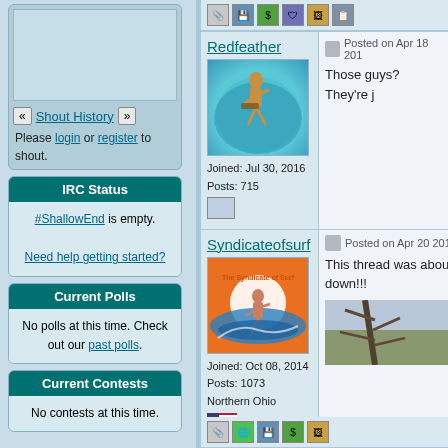[Figure (screenshot): Shout box area with navigation buttons]
« Shout History »
Please login or register to shout.
IRC Status
#ShallowEnd is empty.
Need help getting started?
Current Polls
No polls at this time. Check out our past polls.
Current Contests
No contests at this time.
Redfeather
[Figure (illustration): Redfeather avatar: golden guitarist figure on globe]
Joined: Jul 30, 2016
Posts: 715
Posted on Apr 18 201
Those guys? They're j
Syndicateofsurf
[Figure (illustration): Syndicate of Surf avatar: orange surfing graphic]
Joined: Oct 08, 2014
Posts: 1073
Northern Ohio
Posted on Apr 20 201
This thread was about
down!!!
[Figure (photo): Tree branches against sky photo]